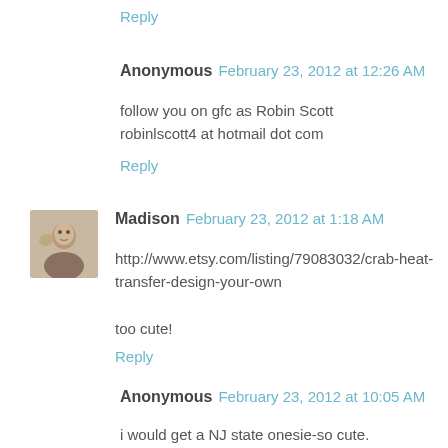Reply
Anonymous  February 23, 2012 at 12:26 AM
follow you on gfc as Robin Scott
robinlscott4 at hotmail dot com
Reply
Madison  February 23, 2012 at 1:18 AM
http://www.etsy.com/listing/79083032/crab-heat-transfer-design-your-own

too cute!
Reply
Anonymous  February 23, 2012 at 10:05 AM
i would get a NJ state onesie-so cute.
flyergal82 AT (yahoo) /dot/ $com%